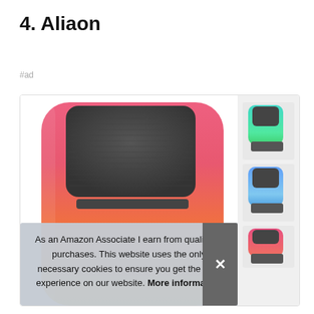4. Aliaon
#ad
[Figure (photo): A colorful Bluetooth speaker/lamp combo with pink-to-orange gradient body and mesh speaker grille on top, shown in a product listing box with three thumbnail color variants (teal, blue, pink) on the right side.]
As an Amazon Associate I earn from qualifying purchases. This website uses the only necessary cookies to ensure you get the best experience on our website. More information